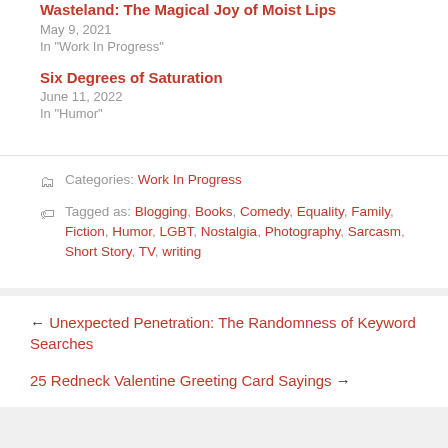Wasteland: The Magical Joy of Moist Lips
May 9, 2021
In "Work In Progress"
Six Degrees of Saturation
June 11, 2022
In "Humor"
Categories: Work In Progress
Tagged as: Blogging, Books, Comedy, Equality, Family, Fiction, Humor, LGBT, Nostalgia, Photography, Sarcasm, Short Story, TV, writing
← Unexpected Penetration: The Randomness of Keyword Searches
25 Redneck Valentine Greeting Card Sayings →